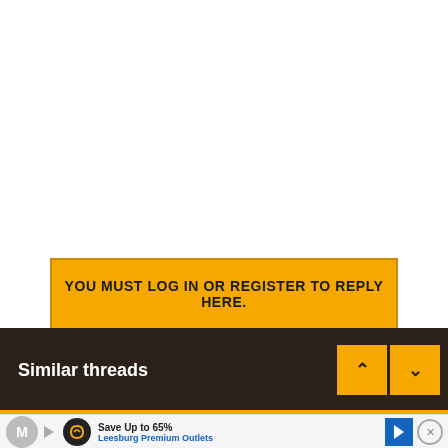YOU MUST LOG IN OR REGISTER TO REPLY HERE.
Similar threads
[Figure (screenshot): Advertisement banner showing 'Save Up to 65% Leesburg Premium Outlets' with logo and navigation icon]